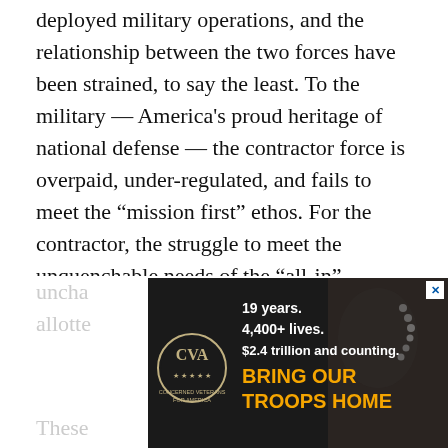deployed military operations, and the relationship between the two forces have been strained, to say the least. To the military — America's proud heritage of national defense — the contractor force is overpaid, under-regulated, and fails to meet the "mission first" ethos. For the contractor, the struggle to meet the unquenchable needs of the "all-in" military customer has created a culture of exceptionalism and over-defensiveness. In short, the military folks on the ground want their homegrown contractors to be more like them — unbending in their willingness to sacrifice all things in the name of the mission — while the contractors think their unique role should go uncha[llenged and th]e allotte[d...]
[Figure (other): Advertisement overlay from Concerned Veterans for America: logo with CVA initials and text '19 years. 4,400+ lives. $2.4 trillion and counting. BRING OUR TROOPS HOME' on a dark background with military imagery.]
These [contractors...]